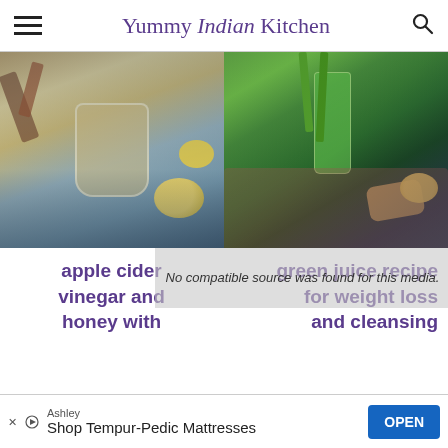Yummy Indian Kitchen
[Figure (photo): A glass of apple cider vinegar drink with lemon slices and cinnamon sticks on a blue surface]
[Figure (photo): A tall glass of green juice with celery, spinach, ginger and lemon on a dark blue surface]
apple cider vinegar and honey with
green juice recipe for weight loss and cleansing
No compatible source was found for this media.
Ashley
Shop Tempur-Pedic Mattresses
OPEN